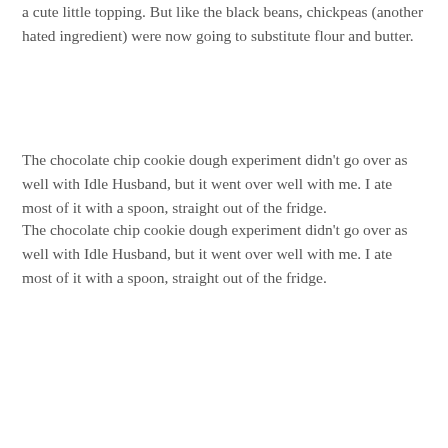a cute little topping. But like the black beans, chickpeas (another hated ingredient) were now going to substitute flour and butter.
The chocolate chip cookie dough experiment didn't go over as well with Idle Husband, but it went over well with me. I ate most of it with a spoon, straight out of the fridge.
Right now, I'm wishing I had another can of chickpeas just so I could have more in the fridge. It's so good. So. Good. It will frighten you how good it tastes. And how much like cookie chickpea becomes.
I think the only thing that kept Idle Husband from enjoying it was the name.
"But why eat cookie dough? Why not just bake it and eat cookies?"
"It's supposed to be like this. It's a cookie dough dip. It doesn't have eggs in it."